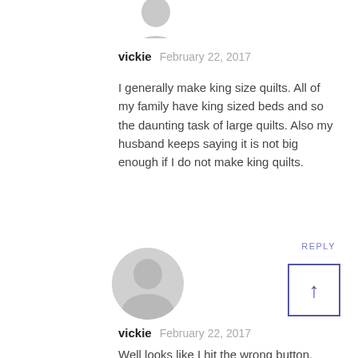[Figure (illustration): Cropped gray silhouette avatar icon at top of page]
vickie   February 22, 2017
I generally make king size quilts. All of my family have king sized beds and so the daunting task of large quilts. Also my husband keeps saying it is not big enough if I do not make king quilts.
REPLY
[Figure (illustration): Gray circular avatar with person silhouette icon]
[Figure (other): Scroll to top button: square with upward arrow]
vickie   February 22, 2017
Well looks like I hit the wrong button. Sorry about that.